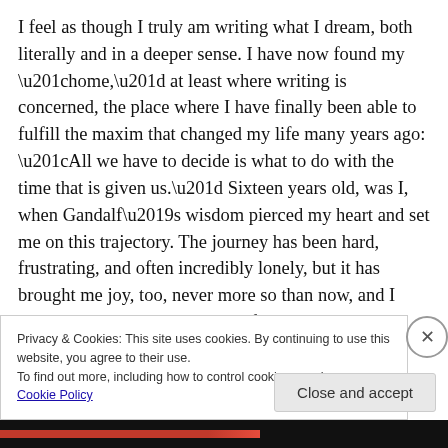I feel as though I truly am writing what I dream, both literally and in a deeper sense. I have now found my “home,” at least where writing is concerned, the place where I have finally been able to fulfill the maxim that changed my life many years ago: “All we have to decide is what to do with the time that is given us.” Sixteen years old, was I, when Gandalf’s wisdom pierced my heart and set me on this trajectory. The journey has been hard, frustrating, and often incredibly lonely, but it has brought me joy, too, never more so than now, and I would not trade the experience for anything in the world, nor, if given the
Privacy & Cookies: This site uses cookies. By continuing to use this website, you agree to their use.
To find out more, including how to control cookies, see here: Cookie Policy
Close and accept